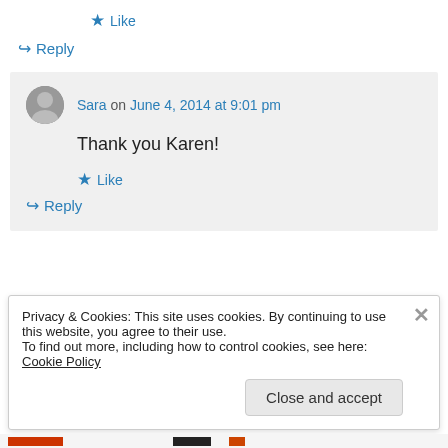★ Like
↪ Reply
Sara on June 4, 2014 at 9:01 pm
Thank you Karen!
★ Like
↪ Reply
Privacy & Cookies: This site uses cookies. By continuing to use this website, you agree to their use.
To find out more, including how to control cookies, see here: Cookie Policy
Close and accept